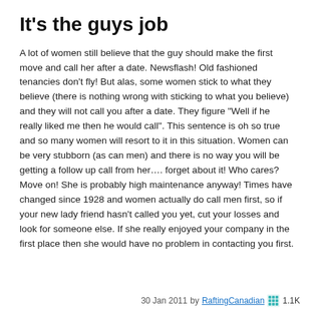It's the guys job
A lot of women still believe that the guy should make the first move and call her after a date. Newsflash! Old fashioned tenancies don't fly! But alas, some women stick to what they believe (there is nothing wrong with sticking to what you believe) and they will not call you after a date. They figure "Well if he really liked me then he would call". This sentence is oh so true and so many women will resort to it in this situation. Women can be very stubborn (as can men) and there is no way you will be getting a follow up call from her…. forget about it! Who cares? Move on! She is probably high maintenance anyway! Times have changed since 1928 and women actually do call men first, so if your new lady friend hasn't called you yet, cut your losses and look for someone else. If she really enjoyed your company in the first place then she would have no problem in contacting you first.
30 Jan 2011 by RaftingCanadian 1.1K